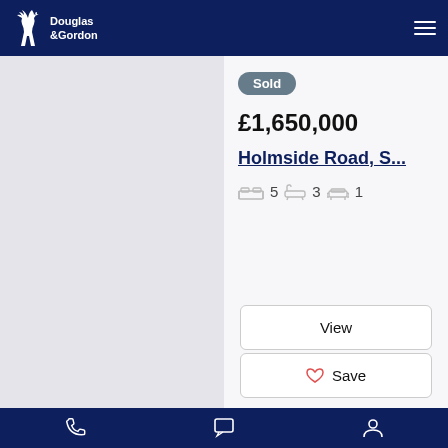Douglas & Gordon
[Figure (screenshot): Property listing screenshot from Douglas & Gordon real estate website showing a sold property]
Sold
£1,650,000
Holmside Road, S...
5 bedrooms, 3 bathrooms, 1 reception
View
Save
Navigation: Phone, Chat, Account